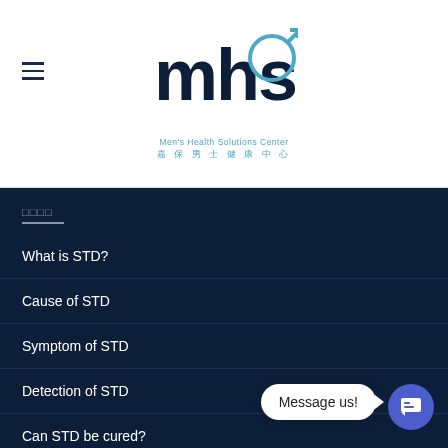[Figure (logo): MHS Men's Health Solutions Center logo with blue arc and male symbol, Chinese text 嘉保男士健康中心]
什麼是STD
What is STD?
Cause of STD
Symptom of STD
Detection of STD
Can STD be cured?
Type of STD